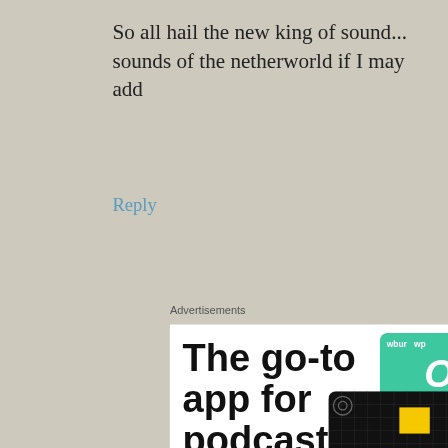So all hail the new king of sound... sounds of the netherworld if I may add
Reply
Advertisements
[Figure (screenshot): Pocket Casts advertisement: 'The go-to app for podcast lovers. Download now' with app store cards showing 99% Invisible, a green card, blue card, and red card mockups, along with the Pocket Casts logo at the bottom.]
Advertisements